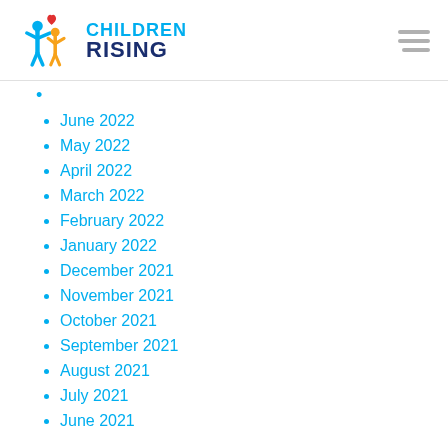Children Rising
June 2022
May 2022
April 2022
March 2022
February 2022
January 2022
December 2021
November 2021
October 2021
September 2021
August 2021
July 2021
June 2021